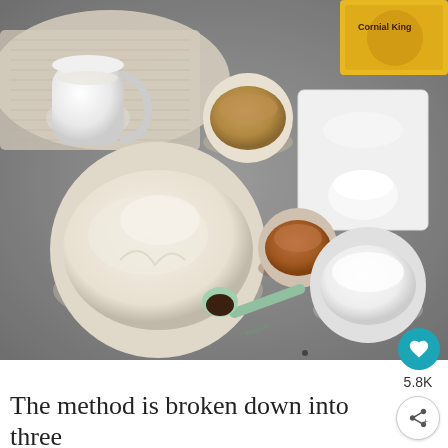[Figure (photo): Overhead flat-lay photo of baking ingredients on a dark grey stone surface: a white pitcher of milk, a small bowl of brown sugar, a white rectangular tray with sugar and a mound of flour/baking powder, a large white bowl filled with flour, a small bowl of cinnamon spice, a small bowl of powdered sugar, and a measuring spoon with vanilla extract on a light green handle. A yellow package (likely yeast or sugar) is visible in the top-right corner.]
5.8K
The method is broken down into three